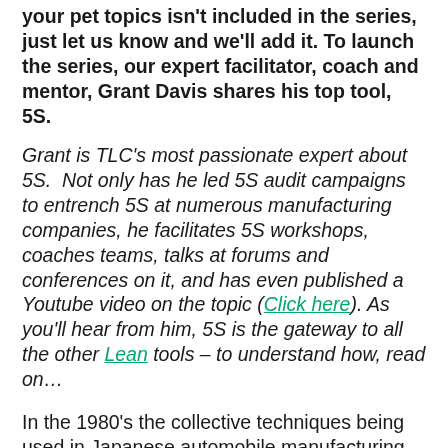your pet topics isn't included in the series, just let us know and we'll add it. To launch the series, our expert facilitator, coach and mentor, Grant Davis shares his top tool, 5S.
Grant is TLC's most passionate expert about 5S. Not only has he led 5S audit campaigns to entrench 5S at numerous manufacturing companies, he facilitates 5S workshops, coaches teams, talks at forums and conferences on it, and has even published a Youtube video on the topic (Click here). As you'll hear from him, 5S is the gateway to all the other Lean tools – to understand how, read on…
In the 1980's the collective techniques being used in Japanese automobile manufacturing started to gain the world's attention. Many incredible philosophies and doctrines started to help other businesses revolutionise the way they did business. One of the most foundational